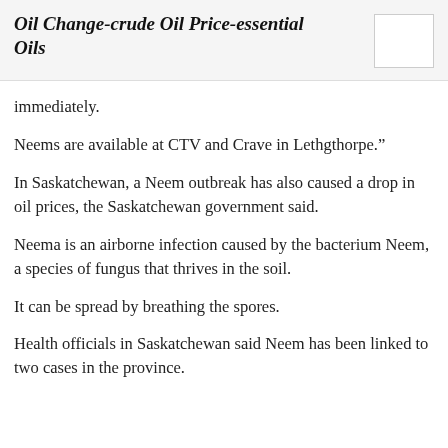Oil Change-crude Oil Price-essential Oils
immediately.
Neems are available at CTV and Crave in Lethgthorpe.”
In Saskatchewan, a Neem outbreak has also caused a drop in oil prices, the Saskatchewan government said.
Neema is an airborne infection caused by the bacterium Neem, a species of fungus that thrives in the soil.
It can be spread by breathing the spores.
Health officials in Saskatchewan said Neem has been linked to two cases in the province.